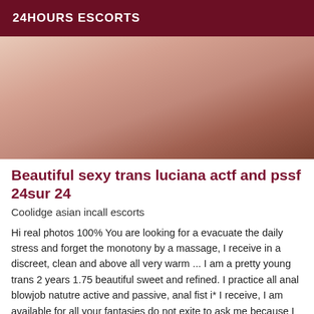24HOURS ESCORTS
[Figure (photo): A photo of a person lying on a white bed, facing away from the camera, wearing dark clothing on lower body.]
Beautiful sexy trans luciana actf and pssf 24sur 24
Coolidge asian incall escorts
Hi real photos 100% You are looking for a evacuate the daily stress and forget the monotony by a massage, I receive in a discreet, clean and above all very warm ... I am a pretty young trans 2 years 1.75 beautiful sweet and refined. I practice all anal blowjob natutre active and passive, anal fist i* I receive, I am available for all your fantasies do not exite to ask me because I am